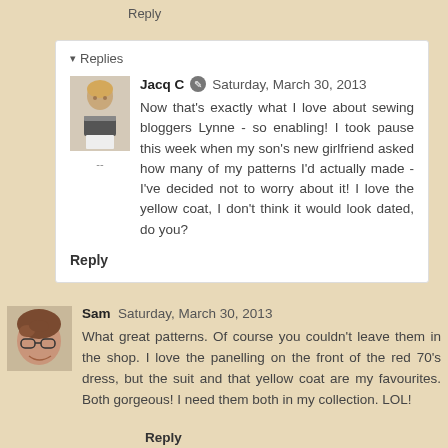Reply
▾ Replies
Jacq C  Saturday, March 30, 2013
Now that's exactly what I love about sewing bloggers Lynne - so enabling! I took pause this week when my son's new girlfriend asked how many of my patterns I'd actually made - I've decided not to worry about it! I love the yellow coat, I don't think it would look dated, do you?
Reply
Sam  Saturday, March 30, 2013
What great patterns. Of course you couldn't leave them in the shop. I love the panelling on the front of the red 70's dress, but the suit and that yellow coat are my favourites. Both gorgeous! I need them both in my collection. LOL!
Reply